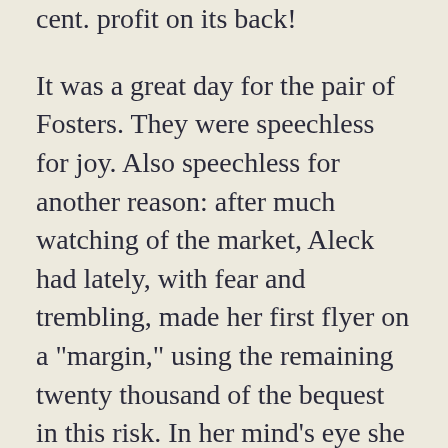cent. profit on its back!
It was a great day for the pair of Fosters. They were speechless for joy. Also speechless for another reason: after much watching of the market, Aleck had lately, with fear and trembling, made her first flyer on a "margin," using the remaining twenty thousand of the bequest in this risk. In her mind's eye she had seen it climb, point by point--always with a chance that the market would break--until at last her anxieties were too great for further endurance-- she being new to